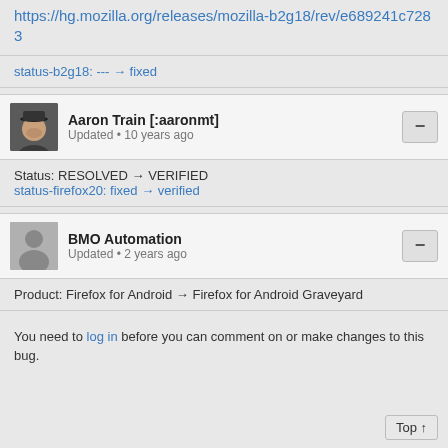https://hg.mozilla.org/releases/mozilla-b2g18/rev/e689241c7283
status-b2g18: --- → fixed
Aaron Train [:aaronmt] Updated • 10 years ago
Status: RESOLVED → VERIFIED
status-firefox20: fixed → verified
BMO Automation Updated • 2 years ago
Product: Firefox for Android → Firefox for Android Graveyard
You need to log in before you can comment on or make changes to this bug.